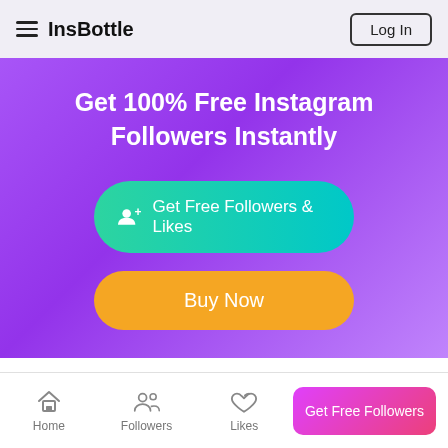InsBottle | Log In
Get 100% Free Instagram Followers Instantly
Get Free Followers & Likes
Buy Now
Home > Blog > Instagram Likes
Home | Followers | Likes | Get Free Followers